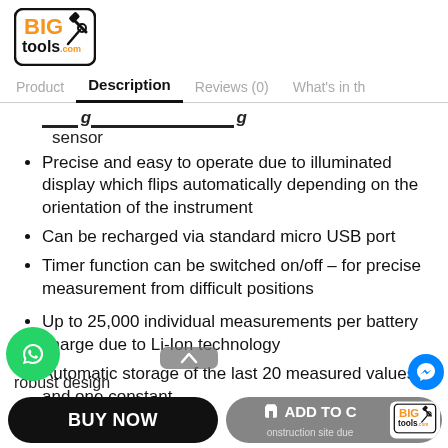[Figure (logo): BIG tools .com logo with orange text and hammer/wrench icons, black border]
Product   Description   Reviews (0)   What's in th
sensor
Precise and easy to operate due to illuminated display which flips automatically depending on the orientation of the instrument
Can be recharged via standard micro USB port
Timer function can be switched on/off – for precise measurement from difficult positions
Up to 25,000 individual measurements per battery charge due to Li-Ion technology
Automatic storage of the last 20 measured values and one constant
BUY NOW   🛒 ADD TO CART
onstruction site due
robust design